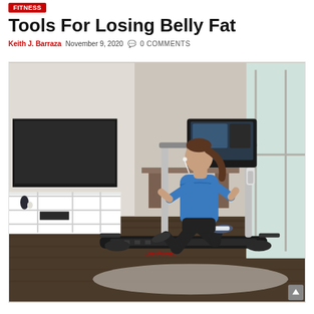FITNESS
Tools For Losing Belly Fat
Keith J. Barraza  November 9, 2020  💬  0 COMMENTS
[Figure (photo): A woman in a blue shirt and black shorts running on a treadmill in a modern living room setting with a TV stand on the left and windows on the right.]